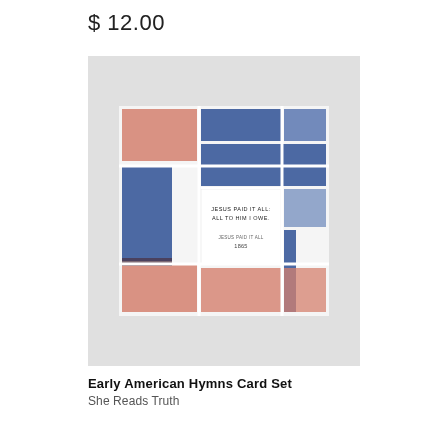$ 12.00
[Figure (photo): Early American Hymns Card Set product image. Square card with geometric color block design in navy blue and dusty rose/terracotta, with white center panel reading 'JESUS PAID IT ALL: ALL TO HIM I OWE.' and 'JESUS PAID IT ALL 1865'.]
Early American Hymns Card Set
She Reads Truth